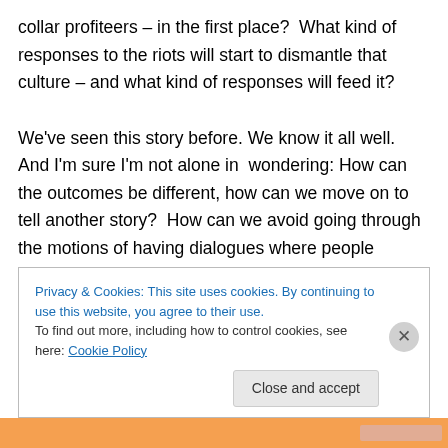collar profiteers – in the first place?  What kind of responses to the riots will start to dismantle that culture – and what kind of responses will feed it?

We've seen this story before. We know it all well. And I'm sure I'm not alone in  wondering: How can the outcomes be different, how can we move on to tell another story?  How can we avoid going through the motions of having dialogues where people generally continue to feel that that they have not been heard, seen or recognized for their experiences and their views? How can we avoid reaching
Privacy & Cookies: This site uses cookies. By continuing to use this website, you agree to their use.
To find out more, including how to control cookies, see here: Cookie Policy